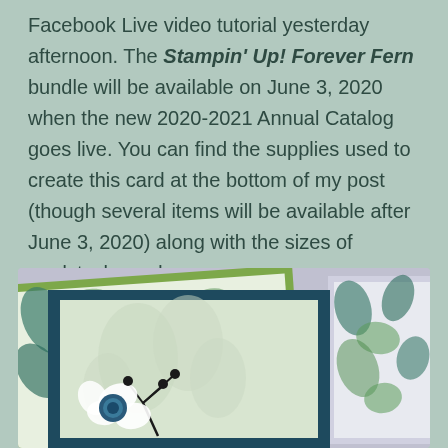Facebook Live video tutorial yesterday afternoon. The Stampin' Up! Forever Fern bundle will be available on June 3, 2020 when the new 2020-2021 Annual Catalog goes live. You can find the supplies used to create this card at the bottom of my post (though several items will be available after June 3, 2020) along with the sizes of cardstock used.
[Figure (photo): A handmade greeting card featuring the Stampin' Up! Forever Fern bundle. The card uses botanical patterned paper with teal and green eucalyptus/fern leaves, layered on green and dark teal cardstock. The front panel is light sage green with an embossed floral texture and a white flower with teal/dark blue center and black stems, positioned at the bottom.]